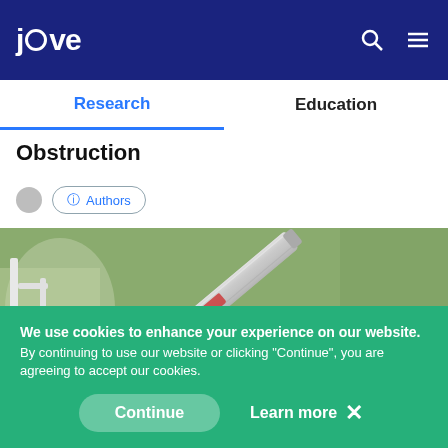jove | Research | Education
Obstruction
Authors
[Figure (photo): Close-up photo of laboratory equipment — a metallic cylindrical tool (possibly a syringe or tube) held by a blue-gloved hand against a blurred lab background]
We use cookies to enhance your experience on our website. By continuing to use our website or clicking "Continue", you are agreeing to accept our cookies. Continue | Learn more ×